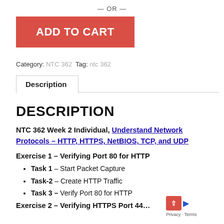— OR —
ADD TO CART
Category: NTC 362  Tag: ntc 362
Description
DESCRIPTION
NTC 362 Week 2 Individual, Understand Network Protocols – HTTP, HTTPS, NetBIOS, TCP, and UDP
Exercise 1 – Verifying Port 80 for HTTP
Task 1 – Start Packet Capture
Task-2 – Create HTTP Traffic
Task 3 – Verify Port 80 for HTTP
Exercise 2 – Verifying HTTPS Port 44...